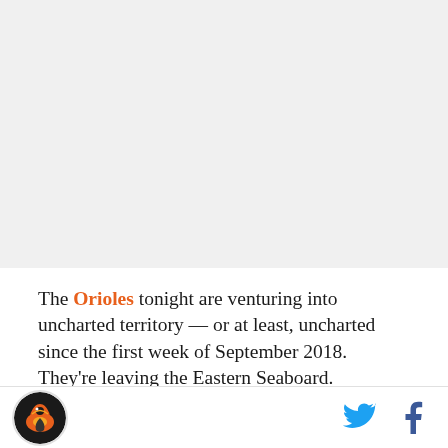[Figure (photo): Large image placeholder at top of article, light gray background]
The Orioles tonight are venturing into uncharted territory — or at least, uncharted since the first week of September 2018. They're leaving the Eastern Seaboard.
So far this year, all 26 of the Orioles' games have been
[Figure (logo): Circular logo with orange and black bird/hawk emblem on black background]
[Figure (other): Twitter bird icon in cyan blue]
[Figure (other): Facebook f icon in dark navy]